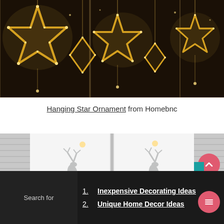[Figure (photo): Star-shaped LED string lights hanging in a window against a dark background, warm golden glow forming star and diamond shapes]
Hanging Star Ornament from Homebnc
[Figure (photo): White interior shutters with decorative reindeer silhouettes and warm fairy lights on a white background]
1. Inexpensive Decorating Ideas
2. Unique Home Decor Ideas
Search for